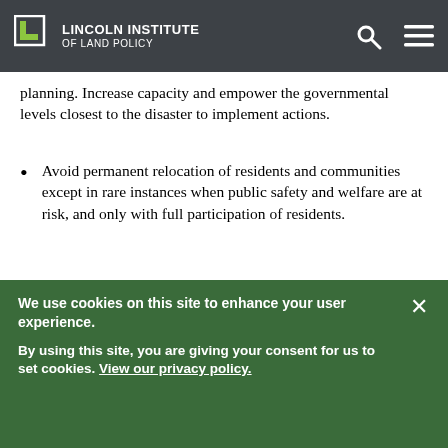Lincoln Institute of Land Policy
planning. Increase capacity and empower the governmental levels closest to the disaster to implement actions.
Avoid permanent relocation of residents and communities except in rare instances when public safety and welfare are at risk, and only with full participation of residents.
Although speed is important, reconstruction should not be a race.
About the Authors
We use cookies on this site to enhance your user experience.
By using this site, you are giving your consent for us to set cookies. View our privacy policy.